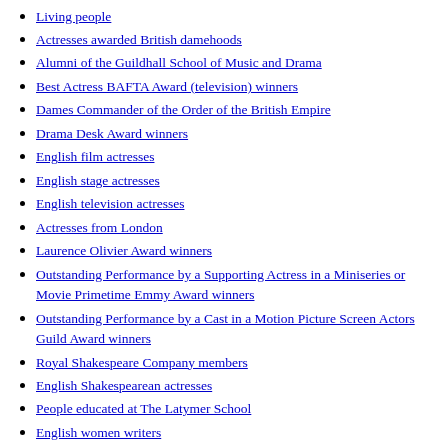Living people
Actresses awarded British damehoods
Alumni of the Guildhall School of Music and Drama
Best Actress BAFTA Award (television) winners
Dames Commander of the Order of the British Empire
Drama Desk Award winners
English film actresses
English stage actresses
English television actresses
Actresses from London
Laurence Olivier Award winners
Outstanding Performance by a Supporting Actress in a Miniseries or Movie Primetime Emmy Award winners
Outstanding Performance by a Cast in a Motion Picture Screen Actors Guild Award winners
Royal Shakespeare Company members
English Shakespearean actresses
People educated at The Latymer School
English women writers
British women screenwriters
English screenwriters
20th-century English actresses
21st-century English actresses
Writers from London